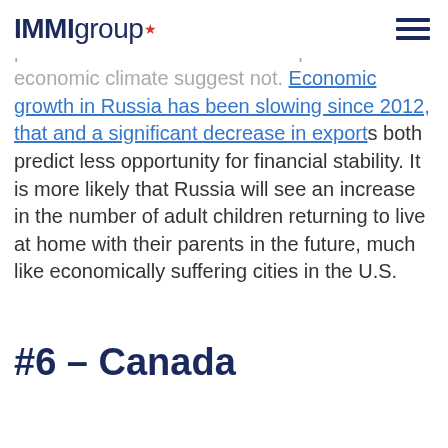IMMIgroup
are more Russians expected to live in a single-person home in the future? The political and economic climate suggest not. Economic growth in Russia has been slowing since 2012, that and a significant decrease in exports both predict less opportunity for financial stability. It is more likely that Russia will see an increase in the number of adult children returning to live at home with their parents in the future, much like economically suffering cities in the U.S.
#6 – Canada